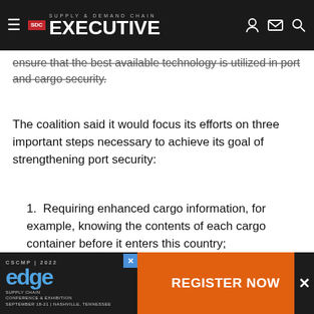Supply & Demand Chain Executive
ensure that the best available technology is utilized in port and cargo security.
The coalition said it would focus its efforts on three important steps necessary to achieve its goal of strengthening port security:
1. Requiring enhanced cargo information, for example, knowing the contents of each cargo container before it enters this country;
2. [I]nspecting containers in transit...
[Figure (other): CSCMP 2022 Edge Supply Chain Conference & Exhibition advertisement banner with Register Now button]